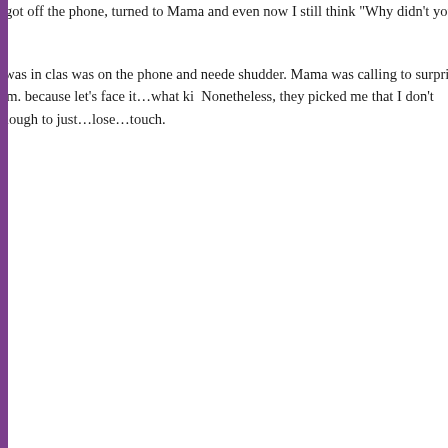stomach. Sometime after that, the phone rang at our house, and it was Ginger asking about something. Mama got off the phone, turned to Mama and even now I still think "Why didn't you just tell Ginger's mom I couldn't"? I know Mama talked to me about not going, but I don't remember the rest.

Eventually they moved away, maybe due to her father's employment, maybe a guilty conscience. I do remember writing letters. On real paper, with envelopes and stamps. In 4th or 5th grade, I was in class one day when the secretary was on the phone and needed me for something that makes me shudder. Mama was calling to say Ginger was coming for a surprise visit. Oh, and Ginger was coming home from school early! A feeling of panic set in, and I remember arguing with myself while standing in the school's hallway phone closet. I begged her not to send them. I think there's something sad because let's face it…what kid begs to not see a friend? Nonetheless, they picked me up. I'm sad to say that I don't remember seeing Ginger at all during that visit. I'm willing to bet both my parents knew something was wrong, because I was too afraid to tell them. I'm not even 100% sure the friendships were simply fading, or if I was old enough to just…lose…touch.